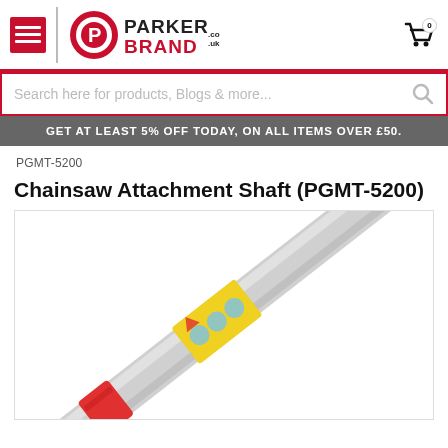[Figure (logo): Parker Brand logo with red circle P icon and PARKER BRAND .co.uk text]
Search here for products, Blogs & more...
GET AT LEAST 5% OFF TODAY, ON ALL ITEMS OVER £50.
PGMT-5200
Chainsaw Attachment Shaft (PGMT-5200)
[Figure (photo): Chainsaw attachment shaft product photo showing a long silver/grey shaft with a red label band near the top and a yellow section with stickers/labels in the middle, photographed diagonally on a white background]